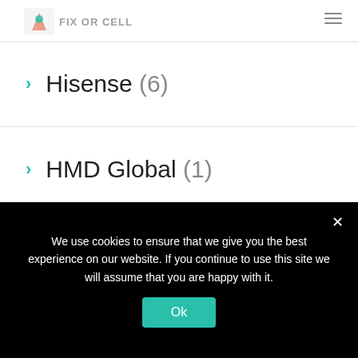FIX OR CELL
Hisense (6)
HMD Global (1)
HomePod (1)
Honor (6)
Honor Magic 3 (2)
Honor Watch GS 3 (1)
HP (10)
We use cookies to ensure that we give you the best experience on our website. If you continue to use this site we will assume that you are happy with it.